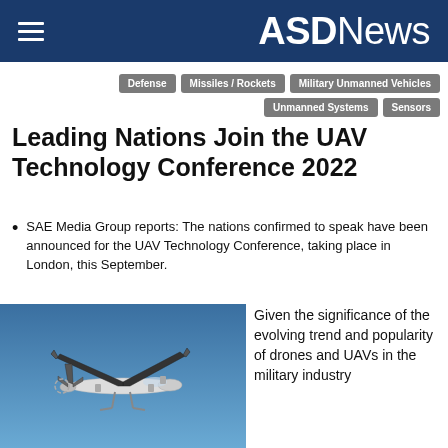ASDNews
Defense
Missiles / Rockets
Military Unmanned Vehicles
Unmanned Systems
Sensors
Leading Nations Join the UAV Technology Conference 2022
SAE Media Group reports: The nations confirmed to speak have been announced for the UAV Technology Conference, taking place in London, this September.
[Figure (photo): Military UAV / drone aircraft photographed against a blue sky, white fuselage, large wingspan with propeller visible, landing gear deployed.]
Given the significance of the evolving trend and popularity of drones and UAVs in the military industry